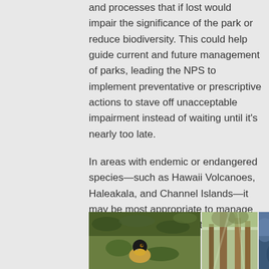and processes that if lost would impair the significance of the park or reduce biodiversity. This could help guide current and future management of parks, leading the NPS to implement preventative or prescriptive actions to stave off unacceptable impairment instead of waiting until it's nearly too late.
In areas with endemic or endangered species—such as Hawaii Volcanoes, Haleakala, and Channel Islands—it may be most appropriate to manage against change to mitigate the risk of losing unique habitats or species to extinction.
[Figure (photo): Three photos side by side: a bird (appears to be a Hawaiian bird) among green foliage, tall redwood trees from below looking up, and a partial blue photo (possibly water or sky).]